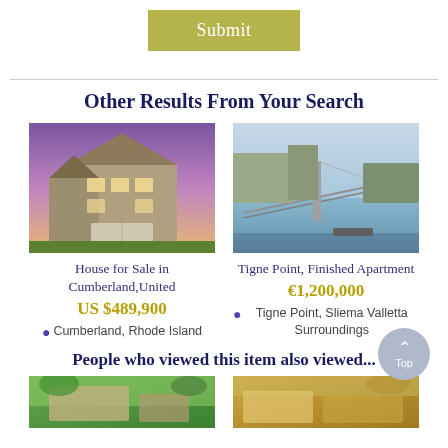Submit
Other Results From Your Search
[Figure (photo): House for sale — multi-story house at dusk with purple sky]
House for Sale in Cumberland,United
US $489,900
Cumberland, Rhode Island
[Figure (photo): Tigne Point coastal view with suspension bridge and water]
Tigne Point, Finished Apartment
€1,200,000
Tigne Point, Sliema Valletta Surroundings
People who viewed this item also viewed...
[Figure (photo): Bottom left property thumbnail]
[Figure (photo): Bottom right property thumbnail]